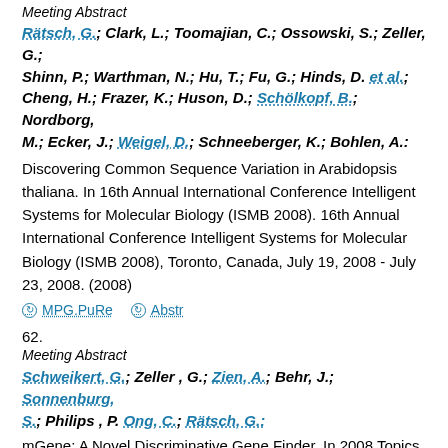Meeting Abstract
Rätsch, G.; Clark, L.; Toomajian, C.; Ossowski, S.; Zeller, G.; Shinn, P.; Warthman, N.; Hu, T.; Fu, G.; Hinds, D. et al.; Cheng, H.; Frazer, K.; Huson, D.; Schölkopf, B.; Nordborg, M.; Ecker, J.; Weigel, D.; Schneeberger, K.; Bohlen, A.: Discovering Common Sequence Variation in Arabidopsis thaliana. In 16th Annual International Conference Intelligent Systems for Molecular Biology (ISMB 2008). 16th Annual International Conference Intelligent Systems for Molecular Biology (ISMB 2008), Toronto, Canada, July 19, 2008 - July 23, 2008. (2008)
MPG.PuRe   Abstr
62.
Meeting Abstract
Schweikert, G.; Zeller, G.; Zien, A.; Behr, J.; Sonnenburg, S.; Philips, P.; Ong, C.; Rätsch, G.: mGene: A Novel Discriminative Gene Finder. In 2008 Topics Meeting: Worm